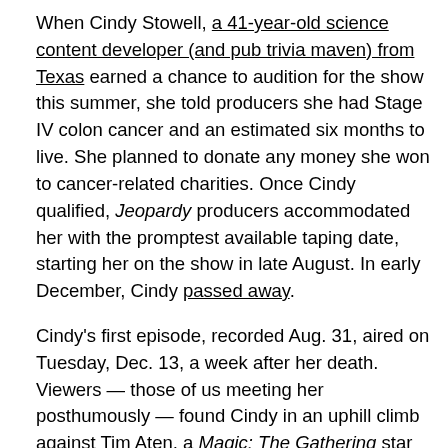When Cindy Stowell, a 41-year-old science content developer (and pub trivia maven) from Texas earned a chance to audition for the show this summer, she told producers she had Stage IV colon cancer and an estimated six months to live. She planned to donate any money she won to cancer-related charities. Once Cindy qualified, Jeopardy producers accommodated her with the promptest available taping date, starting her on the show in late August. In early December, Cindy passed away.
Cindy's first episode, recorded Aug. 31, aired on Tuesday, Dec. 13, a week after her death. Viewers — those of us meeting her posthumously — found Cindy in an uphill climb against Tim Aten, a Magic: The Gathering star and trivia powerhouse who was carrying a seven-day streak that'd won him over $100,000. But